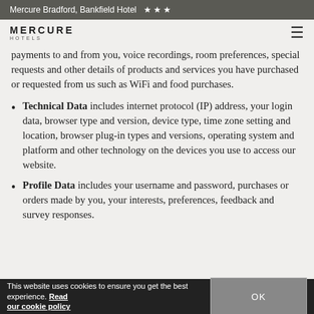Mercure Bradford, Bankfield Hotel ★★★
[Figure (logo): Mercure Hotels logo with hamburger menu icon]
payments to and from you, voice recordings, room preferences, special requests and other details of products and services you have purchased or requested from us such as WiFi and food purchases.
Technical Data includes internet protocol (IP) address, your login data, browser type and version, device type, time zone setting and location, browser plug-in types and versions, operating system and platform and other technology on the devices you use to access our website.
Profile Data includes your username and password, purchases or orders made by you, your interests, preferences, feedback and survey responses.
This website uses cookies to ensure you get the best experience. Read our cookie policy  OK